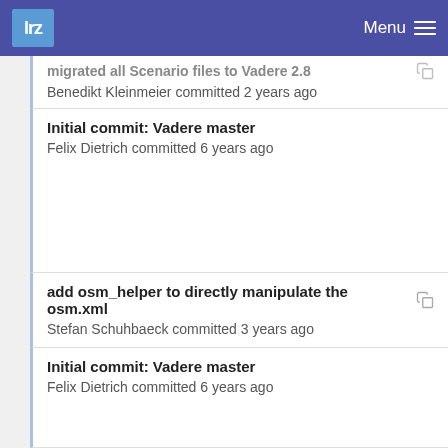lrz  Menu
migrated all Scenario files to Vadere 2.8
Benedikt Kleinmeier committed 2 years ago
Initial commit: Vadere master
Felix Dietrich committed 6 years ago
add osm_helper to directly manipulate the osm.xml
Stefan Schuhbaeck committed 3 years ago
Initial commit: Vadere master
Felix Dietrich committed 6 years ago